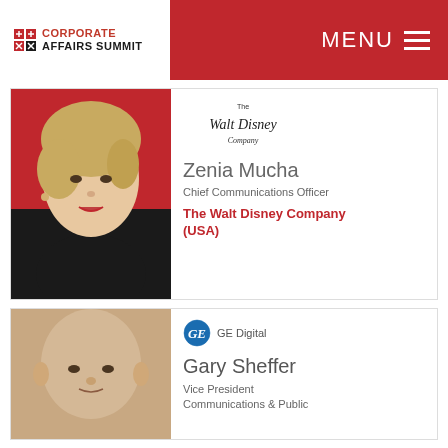Corporate Affairs Summit | MENU
[Figure (photo): Headshot of Zenia Mucha, blonde woman in dark jacket against red background]
Zenia Mucha
Chief Communications Officer
The Walt Disney Company (USA)
[Figure (photo): Headshot of Gary Sheffer, bald man]
Gary Sheffer
Vice President Communications & Public